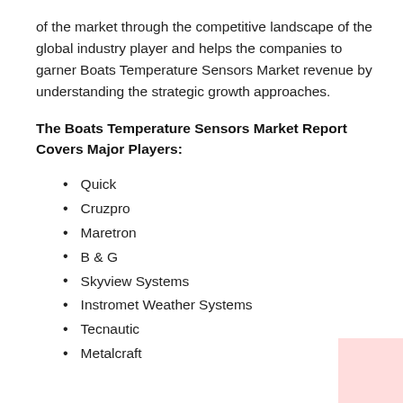of the market through the competitive landscape of the global industry player and helps the companies to garner Boats Temperature Sensors Market revenue by understanding the strategic growth approaches.
The Boats Temperature Sensors Market Report Covers Major Players:
Quick
Cruzpro
Maretron
B & G
Skyview Systems
Instromet Weather Systems
Tecnautic
Metalcraft